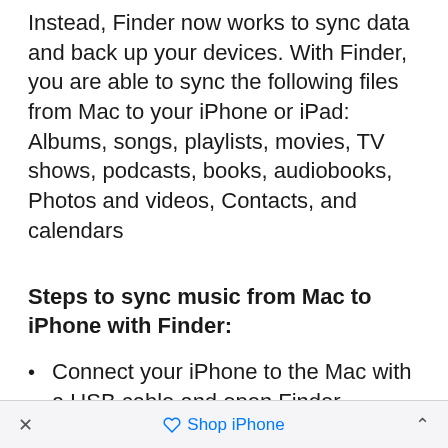Instead, Finder now works to sync data and back up your devices. With Finder, you are able to sync the following files from Mac to your iPhone or iPad:
Albums, songs, playlists, movies, TV shows, podcasts, books, audiobooks, Photos and videos, Contacts, and calendars
Steps to sync music from Mac to iPhone with Finder:
Connect your iPhone to the Mac with a USB cable and open Finder.
Unlock your iPhone and trust the
× Shop iPhone ^